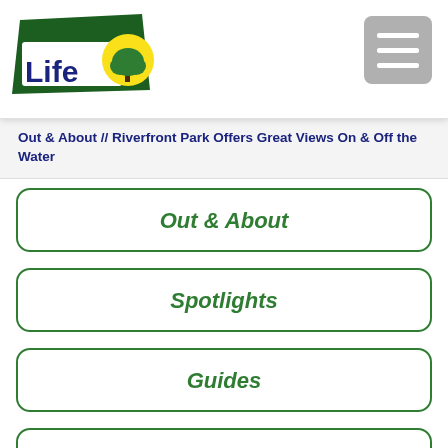[Figure (logo): McHenry Life logo with green parallelogram background, white text 'McHenry Life', yellow circle with green tree]
Out & About // Riverfront Park Offers Great Views On & Off the Water
Out & About
Spotlights
Guides
Over the Line